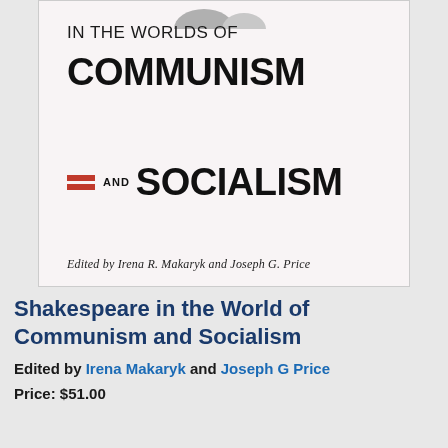[Figure (photo): Book cover of 'Shakespeare in the Worlds of Communism and Socialism', showing the title in large bold black text on a light pink/white background, with red double-line decoration next to 'AND', and edited by Irena R. Makaryk and Joseph G. Price]
Shakespeare in the World of Communism and Socialism
Edited by Irena Makaryk and Joseph G Price
Price: $51.00